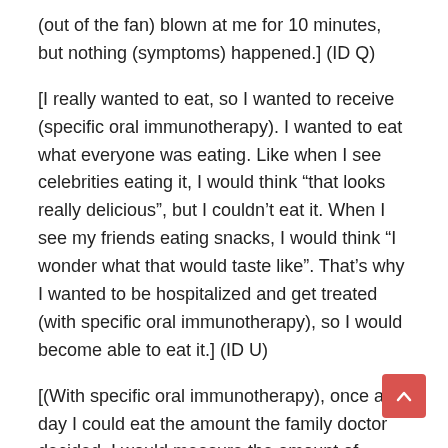(out of the fan) blown at me for 10 minutes, but nothing (symptoms) happened.] (ID Q)
[I really wanted to eat, so I wanted to receive (specific oral immunotherapy). I wanted to eat what everyone was eating. Like when I see celebrities eating it, I would think “that looks really delicious”, but I couldn’t eat it. When I see my friends eating snacks, I would think “I wonder what that would taste like”. That’s why I wanted to be hospitalized and get treated (with specific oral immunotherapy), so I would become able to eat it.] (ID U)
[(With specific oral immunotherapy), once a day I could eat the amount the family doctor decided. I would measure the amount of wheat protein in the food based on the prescribed amount and change what I ate based on the day. I would measure the amount and decide what to eat myself. At first when I was in 3rd grade, my mother would do it, but when I was in 5th grade, I ended up doing it